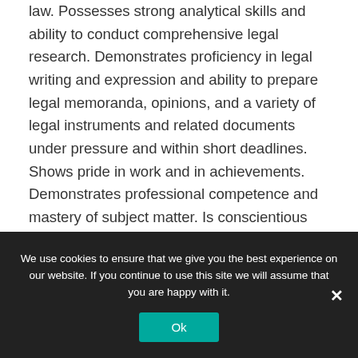law. Possesses strong analytical skills and ability to conduct comprehensive legal research. Demonstrates proficiency in legal writing and expression and ability to prepare legal memoranda, opinions, and a variety of legal instruments and related documents under pressure and within short deadlines. Shows pride in work and in achievements. Demonstrates professional competence and mastery of subject matter. Is conscientious and efficient in meeting commitments, observing deadlines and achieving results. Is motivated by professional rather than personal concerns
We use cookies to ensure that we give you the best experience on our website. If you continue to use this site we will assume that you are happy with it.